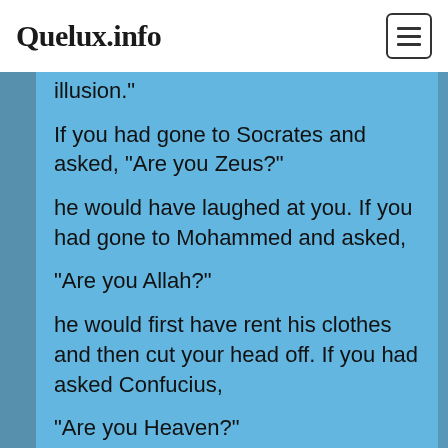Quelux.info
My son, you are caught in the veil of illusion."

If you had gone to Socrates and asked, "Are you Zeus?"

he would have laughed at you. If you had gone to Mohammed and asked,

"Are you Allah?"

he would first have rent his clothes and then cut your head off. If you had asked Confucius,

"Are you Heaven?"